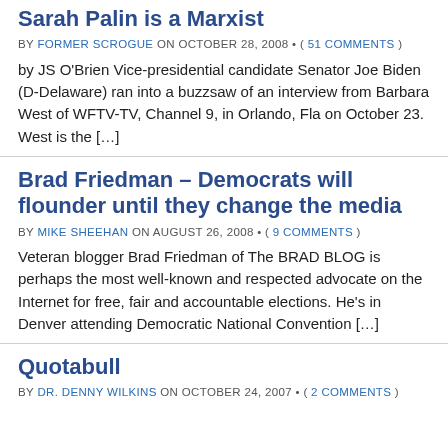Sarah Palin is a Marxist
BY FORMER SCROGUE ON OCTOBER 28, 2008 • ( 51 COMMENTS )
by JS O'Brien Vice-presidential candidate Senator Joe Biden (D-Delaware) ran into a buzzsaw of an interview from Barbara West of WFTV-TV, Channel 9, in Orlando, Fla on October 23.  West is the […]
Brad Friedman – Democrats will flounder until they change the media
BY MIKE SHEEHAN ON AUGUST 26, 2008 • ( 9 COMMENTS )
Veteran blogger Brad Friedman of The BRAD BLOG is perhaps the most well-known and respected advocate on the Internet for free, fair and accountable elections. He's in Denver attending Democratic National Convention […]
Quotabull
BY DR. DENNY WILKINS ON OCTOBER 24, 2007 • ( 2 COMMENTS )